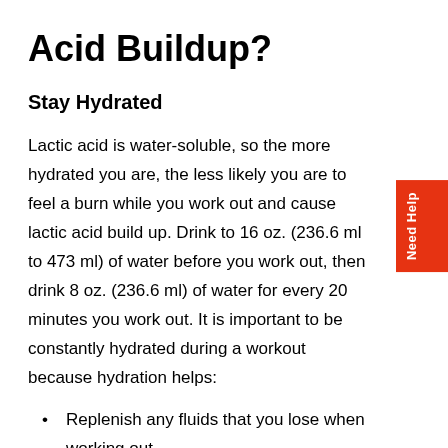Acid Buildup?
Stay Hydrated
Lactic acid is water-soluble, so the more hydrated you are, the less likely you are to feel a burn while you work out and cause lactic acid build up. Drink to 16 oz. (236.6 ml to 473 ml) of water before you work out, then drink 8 oz. (236.6 ml) of water for every 20 minutes you work out. It is important to be constantly hydrated during a workout because hydration helps:
Replenish any fluids that you lose when working out